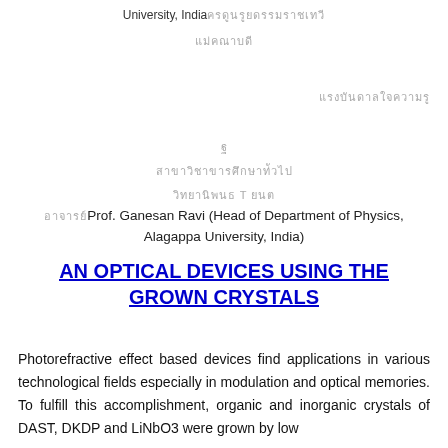University, India [Thai characters] [Thai characters]
[Thai characters right-aligned]
[Thai character single]
[Thai characters line 1]
[Thai characters line 2]
Prof. Ganesan Ravi (Head of Department of Physics, Alagappa University, India)
AN OPTICAL DEVICES USING THE GROWN CRYSTALS
Photorefractive effect based devices find applications in various technological fields especially in modulation and optical memories. To fulfill this accomplishment, organic and inorganic crystals of DAST, DKDP and LiNbO3 were grown by low